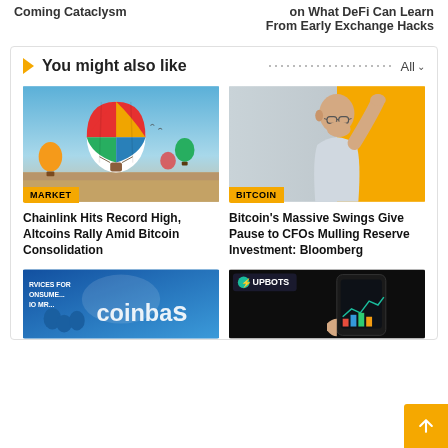Coming Cataclysm
on What DeFi Can Learn From Early Exchange Hacks
You might also like
[Figure (photo): Hot air balloons in a desert sky, MARKET badge]
Chainlink Hits Record High, Altcoins Rally Amid Bitcoin Consolidation
[Figure (photo): Surprised bald man on orange background, BITCOIN badge]
Bitcoin's Massive Swings Give Pause to CFOs Mulling Reserve Investment: Bloomberg
[Figure (photo): Coinbase signage with people in front, partial view]
[Figure (photo): UPBOTS brand with phone showing trading interface, partial view]